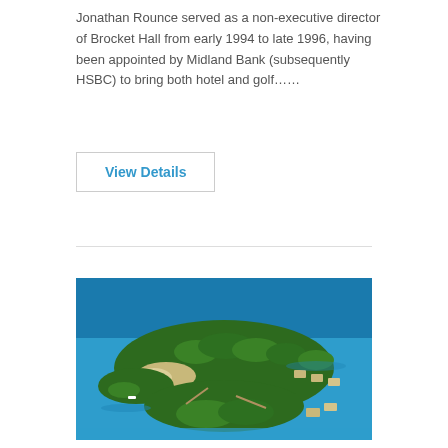Jonathan Rounce served as a non-executive director of Brocket Hall from early 1994 to late 1996, having been appointed by Midland Bank (subsequently HSBC) to bring both hotel and golf……
View Details
[Figure (photo): Aerial photograph of a tropical island resort surrounded by blue ocean water, with lush green vegetation, overwater bungalows, and white sandy beaches visible.]